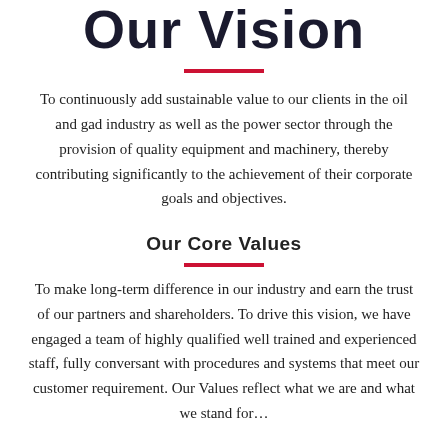Our Vision
To continuously add sustainable value to our clients in the oil and gad industry as well as the power sector through the provision of quality equipment and machinery, thereby contributing significantly to the achievement of their corporate goals and objectives.
Our Core Values
To make long-term difference in our industry and earn the trust of our partners and shareholders. To drive this vision, we have engaged a team of highly qualified well trained and experienced staff, fully conversant with procedures and systems that meet our customer requirement. Our Values reflect what we are and what we stand for...